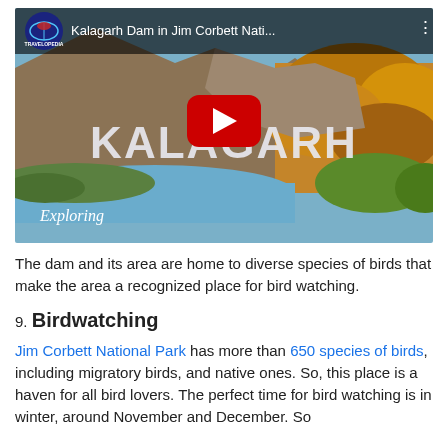[Figure (screenshot): YouTube video thumbnail for 'Kalagarh Dam in Jim Corbett Nati...' by Travelopedia. Shows a scenic aerial view of Kalagarh dam area with river, mountains covered in autumn foliage, and large text 'KALAGARH' overlaid. Red YouTube play button in center. Channel logo (Travelopedia globe icon) and video title in top bar. 'Exploring' text in italic at bottom left.]
The dam and its area are home to diverse species of birds that make the area a recognized place for bird watching.
9. Birdwatching
Jim Corbett National Park has more than 650 species of birds, including migratory birds, and native ones. So, this place is a haven for all bird lovers. The perfect time for bird watching is in winter, around November and December. So